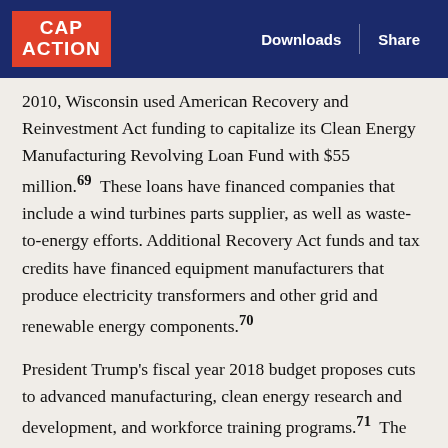CAP ACTION | Downloads | Share
2010, Wisconsin used American Recovery and Reinvestment Act funding to capitalize its Clean Energy Manufacturing Revolving Loan Fund with $55 million.69 These loans have financed companies that include a wind turbines parts supplier, as well as waste-to-energy efforts. Additional Recovery Act funds and tax credits have financed equipment manufacturers that produce electricity transformers and other grid and renewable energy components.70
President Trump's fiscal year 2018 budget proposes cuts to advanced manufacturing, clean energy research and development, and workforce training programs.71 The growing wind energy market in Iowa and other Midwestern states has already increased demand for wind turbine parts and may benefit Wisconsin